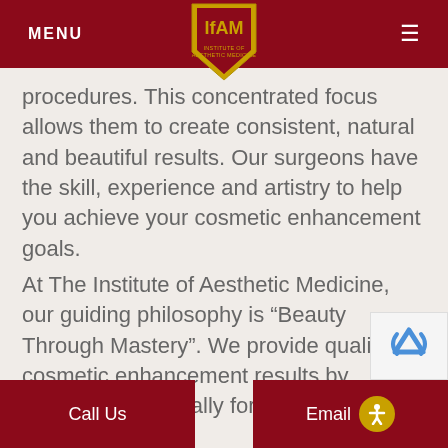MENU | IFAM Institute of Aesthetic Medicine
procedures. This concentrated focus allows them to create consistent, natural and beautiful results. Our surgeons have the skill, experience and artistry to help you achieve your cosmetic enhancement goals.
At The Institute of Aesthetic Medicine, our guiding philosophy is “Beauty Through Mastery”. We provide quality cosmetic enhancement results by surgeons ed globally for their
Call Us | Email